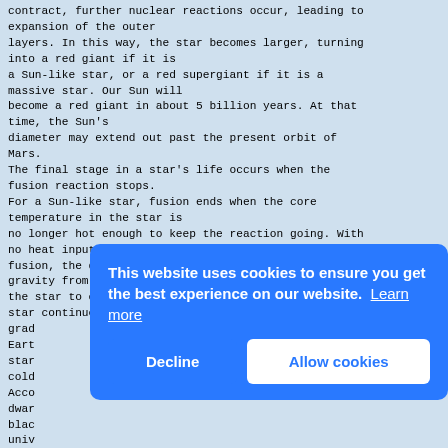contract, further nuclear reactions occur, leading to expansion of the outer
layers. In this way, the star becomes larger, turning into a red giant if it is
a Sun-like star, or a red supergiant if it is a massive star. Our Sun will
become a red giant in about 5 billion years. At that time, the Sun's
diameter may extend out past the present orbit of Mars.
The final stage in a star's life occurs when the fusion reaction stops.
For a Sun-like star, fusion ends when the core temperature in the star is
no longer hot enough to keep the reaction going. With no heat input from
fusion, the decreasing pressure is unable to prevent gravity from causing
the star to collapse slowly on itself. The Sun-like star continues to shrink,
gradually becoming white dwarf, roughly the
Earth...
star...
cold...
Acco... dwarf...
black...
univ...
In a...
star...
fuel...
fusion enables gravity to get
[Figure (screenshot): Cookie consent overlay popup with blue background. Text: 'This website uses cookies to ensure you get the best experience on our website. Learn more'. Two buttons: 'Decline' (left, dark blue) and 'Allow cookies' (right, white with blue text).]